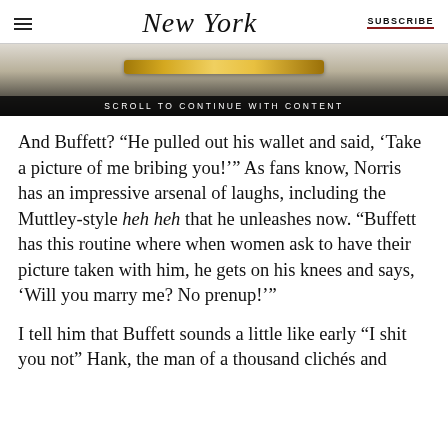New York | SUBSCRIBE
[Figure (screenshot): Advertisement banner with gold pen/object and 'SCROLL TO CONTINUE WITH CONTENT' overlay text]
And Buffett? “He pulled out his wallet and said, ‘Take a picture of me bribing you!’” As fans know, Norris has an impressive arsenal of laughs, including the Muttley-style heh heh that he unleashes now. “Buffett has this routine where when women ask to have their picture taken with him, he gets on his knees and says, ‘Will you marry me? No prenup!’”
I tell him that Buffett sounds a little like early “I shit you not” Hank, the man of a thousand clichés and